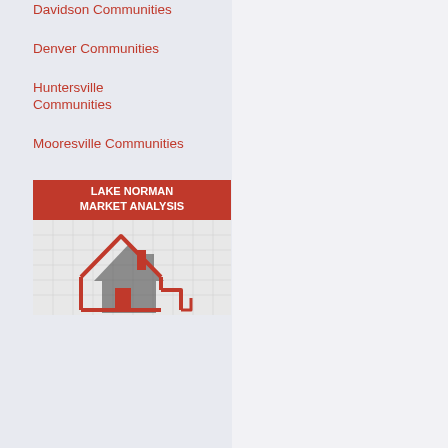Davidson Communities
Denver Communities
Huntersville Communities
Mooresville Communities
[Figure (infographic): Lake Norman Market Analysis banner image: red header bar with white bold text 'LAKE NORMAN MARKET ANALYSIS', below a graph-paper grid background with a red 3D house outline/shadow illustration in the foreground]